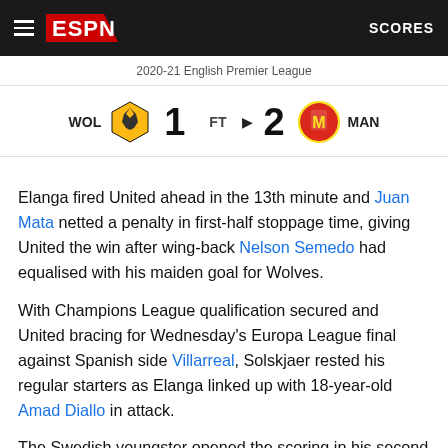ESPN  SCORES
2020-21 English Premier League
[Figure (infographic): Match scoreline: WOL (Wolverhampton) 1 - FT - 2 MAN (Manchester United) with team crests]
Elanga fired United ahead in the 13th minute and Juan Mata netted a penalty in first-half stoppage time, giving United the win after wing-back Nelson Semedo had equalised with his maiden goal for Wolves.
With Champions League qualification secured and United bracing for Wednesday's Europa League final against Spanish side Villarreal, Solskjaer rested his regular starters as Elanga linked up with 18-year-old Amad Diallo in attack.
The Swedish youngster opened the scoring in his second start for United with a thumping header from eight metres after